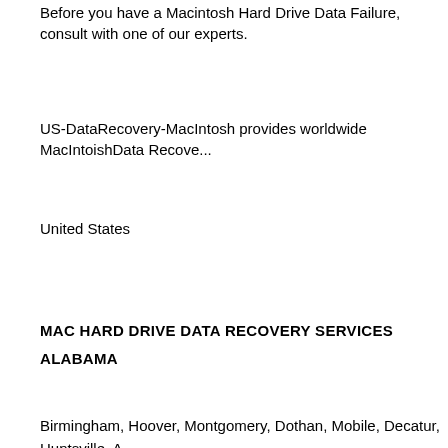Before you have a Macintosh Hard Drive Data Failure, consult with one of our experts.
US-DataRecovery-MacIntosh provides worldwide MacIntoishData Recovery services.
United States
MAC HARD DRIVE DATA RECOVERY SERVICES
ALABAMA
Birmingham, Hoover, Montgomery, Dothan, Mobile, Decatur, Huntsville, Auburn, Center Point, Enterprise, Homewood, Madison, Mountain Brook, Opelika,